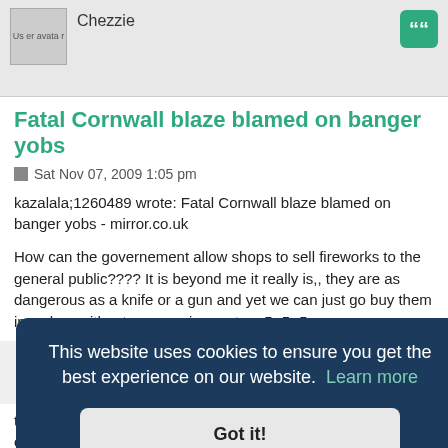[Figure (screenshot): User avatar placeholder image with text 'User avatar']
Chezzie
Fatal Cornwall blaze blamed on banger yobs
Sat Nov 07, 2009 1:05 pm
kazalala;1260489 wrote: Fatal Cornwall blaze blamed on banger yobs - mirror.co.uk
How can the governement allow shops to sell fireworks to the general public???? It is beyond me it really is,, they are as dangerous as a knife or a gun and yet we can just go buy them in a shop without any requirements. :-5:-5:-5
This website uses cookies to ensure you get the best experience on our website. Learn more
Got it!
rganised are still e ds have them all the more now. Wouldnt be so bad if they were just let off one night at an